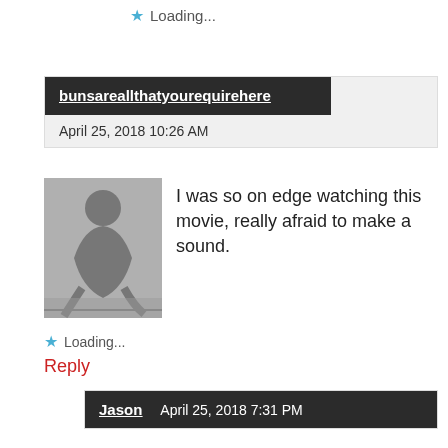★ Loading...
bunsareallthatyourequirehere
April 25, 2018 10:26 AM
[Figure (photo): Black and white photo of a person crouching in a sprinter pose on a track]
I was so on edge watching this movie, really afraid to make a sound.
★ Loading...
Reply
Jason   April 25, 2018 7:31 PM
[Figure (photo): Photo of a man with glasses looking up, wearing blue jacket]
Haha...definitely the same here as well!
★ Loading...